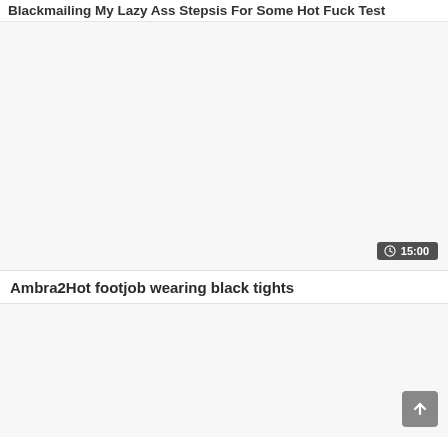Blackmailing My Lazy Ass Stepsis For Some Hot Fuck Test
[Figure (screenshot): Video thumbnail placeholder area, white/light gray background, with a duration badge showing clock icon and 15:00]
Ambra2Hot footjob wearing black tights
[Figure (screenshot): Second video thumbnail placeholder area, white/light gray background, with a scroll-to-top button (plus icon) in the bottom right corner]